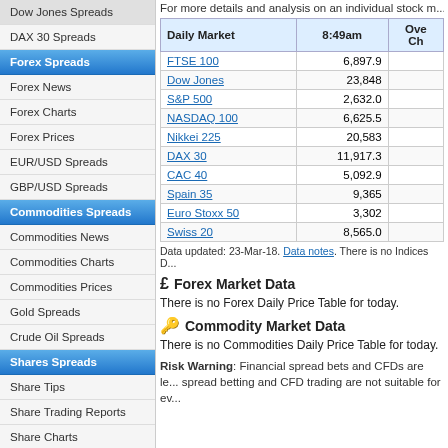Dow Jones Spreads
DAX 30 Spreads
Forex Spreads
Forex News
Forex Charts
Forex Prices
EUR/USD Spreads
GBP/USD Spreads
Commodities Spreads
Commodities News
Commodities Charts
Commodities Prices
Gold Spreads
Crude Oil Spreads
Shares Spreads
Share Tips
Share Trading Reports
Share Charts
UK Shares
US Shares
For more details and analysis on an individual stock m...
| Daily Market | 8:49am | Ove... Ch... |
| --- | --- | --- |
| FTSE 100 | 6,897.9 |  |
| Dow Jones | 23,848 |  |
| S&P 500 | 2,632.0 |  |
| NASDAQ 100 | 6,625.5 |  |
| Nikkei 225 | 20,583 |  |
| DAX 30 | 11,917.3 |  |
| CAC 40 | 5,092.9 |  |
| Spain 35 | 9,365 |  |
| Euro Stoxx 50 | 3,302 |  |
| Swiss 20 | 8,565.0 |  |
Data updated: 23-Mar-18. Data notes. There is no Indices D...
Forex Market Data
There is no Forex Daily Price Table for today.
Commodity Market Data
There is no Commodities Daily Price Table for today.
Risk Warning: Financial spread bets and CFDs are le... spread betting and CFD trading are not suitable for ev...